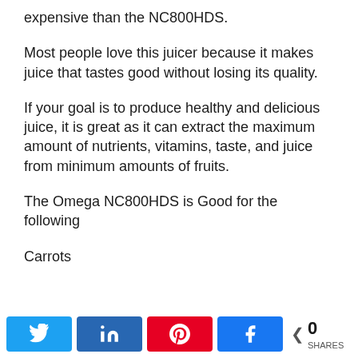expensive than the NC800HDS.
Most people love this juicer because it makes juice that tastes good without losing its quality.
If your goal is to produce healthy and delicious juice, it is great as it can extract the maximum amount of nutrients, vitamins, taste, and juice from minimum amounts of fruits.
The Omega NC800HDS is Good for the following
Carrots
Twitter | in LinkedIn | Pinterest | Facebook | 0 SHARES